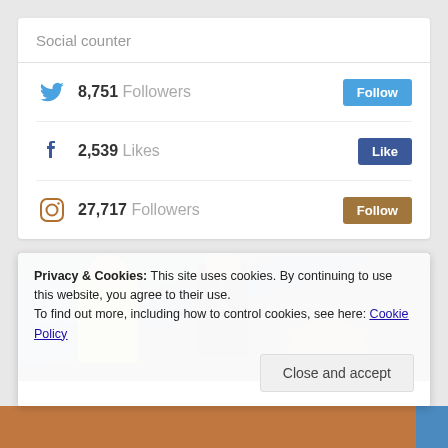Social counter
8,751 Followers
2,539 Likes
27,717 Followers
[Figure (photo): Football scene: player in yellow vest and man in suit in the background]
Privacy & Cookies: This site uses cookies. By continuing to use this website, you agree to their use.
To find out more, including how to control cookies, see here: Cookie Policy
Close and accept